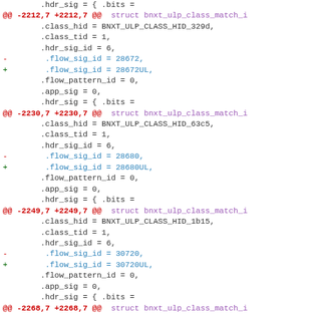code diff showing struct bnxt_ulp_class_match_i changes, replacing flow_sig_id integer literals with UL suffixed unsigned long literals across multiple hunks
[Figure (screenshot): Git diff output showing changes to C code struct initializers, replacing flow_sig_id values (28672, 28680, 30720) with UL-suffixed versions (28672UL, 28680UL, 30720UL) across four hunks at lines 2212, 2230, 2249, and 2268 of the file.]